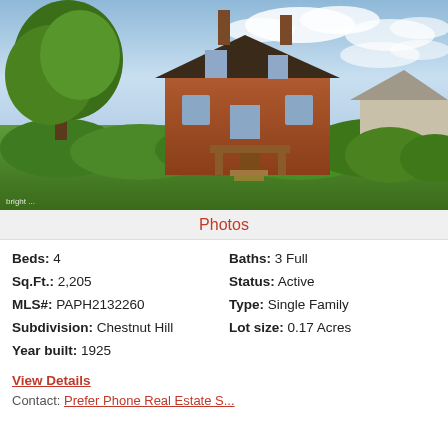[Figure (photo): Exterior photo of a large brick Victorian-style two-story house with twin chimneys, surrounded by lush green trees and hedges, blue sky with clouds in background. Bright MLS watermark in bottom-left.]
Photos
| Beds: 4 | Baths: 3 Full |
| Sq.Ft.: 2,205 | Status: Active |
| MLS#: PAPH2132260 | Type: Single Family |
| Subdivision: Chestnut Hill | Lot size: 0.17 Acres |
| Year built: 1925 |  |
View Details
Contact: Prefer Phone Real Estate S...